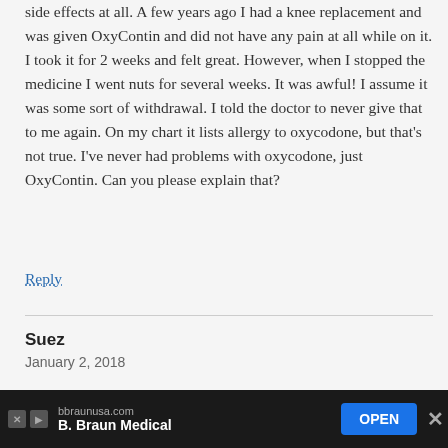side effects at all. A few years ago I had a knee replacement and was given OxyContin and did not have any pain at all while on it. I took it for 2 weeks and felt great. However, when I stopped the medicine I went nuts for several weeks. It was awful! I assume it was some sort of withdrawal. I told the doctor to never give that to me again. On my chart it lists allergy to oxycodone, but that's not true. I've never had problems with oxycodone, just OxyContin. Can you please explain that?
Reply
Suez
January 2, 2018
Hi Libby:
I commend you for having such self control and NOT listening to the Doctors. I was one
[Figure (other): Advertisement bar for B. Braun Medical with bbraunusa.com domain, OPEN button in blue, close X button, and navigation icons on left]